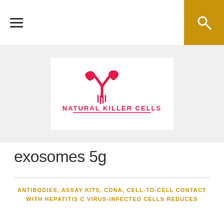Navigation bar with hamburger menu and search button
[Figure (logo): Natural Killer Cells logo — a red Y-shaped antibody icon with dripping lines above bold red text reading NATURAL KILLER CELLS with an underline]
exosomes 5g
ANTIBODIES, ASSAY KITS, CDNA, CELL-TO-CELL CONTACT WITH HEPATITIS C VIRUS-INFECTED CELLS REDUCES